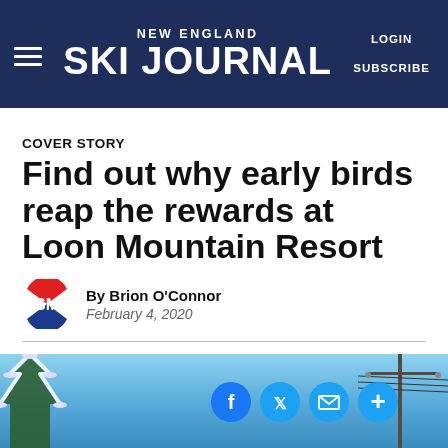NEW ENGLAND SKI JOURNAL — LOGIN — SUBSCRIBE
COVER STORY
Find out why early birds reap the rewards at Loon Mountain Resort
By Brion O'Connor
February 4, 2020
[Figure (photo): Bottom strip showing snowy trees on the left, blue sky, power lines on the right, with social media sharing icons (Facebook, Twitter, Mail, Plus) overlaid]